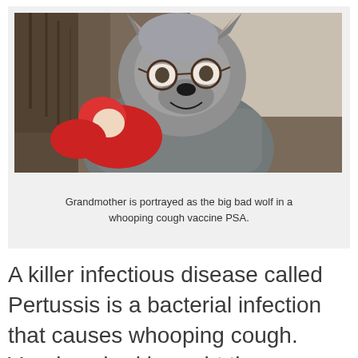[Figure (photo): A person wearing a wolf mask/costume with glasses, holding a baby wrapped in red clothing. Indoor setting with staircase visible in background. Scene depicts grandmother portrayed as the big bad wolf in a whooping cough vaccine PSA.]
Grandmother is portrayed as the big bad wolf in a whooping cough vaccine PSA.
A killer infectious disease called Pertussis is a bacterial infection that causes whooping cough. Vaccines had brought the numbers of cases down dramatically, but now they're on the rise again and Texas Biomed animals and scientists are involved in the search for something better to treat this health